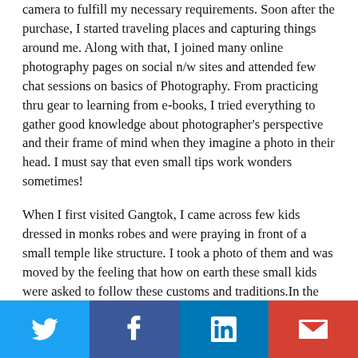camera to fulfill my necessary requirements. Soon after the purchase, I started traveling places and capturing things around me. Along with that, I joined many online photography pages on social n/w sites and attended few chat sessions on basics of Photography. From practicing thru gear to learning from e-books, I tried everything to gather good knowledge about photographer's perspective and their frame of mind when they imagine a photo in their head. I must say that even small tips work wonders sometimes!
When I first visited Gangtok, I came across few kids dressed in monks robes and were praying in front of a small temple like structure. I took a photo of them and was moved by the feeling that how on earth these small kids were asked to follow these customs and traditions.In the small age of 6-14 yrs, were they not losing their childhood? their dreams? their studies? I somehow digested my questions that time, but I still feel sometimes that what kind of a life those kids are living. And somewhere in my heart, those unanswered questions still haunts me. So if I have to choose any one picture from my collection for this prompt "The Photo that
Twitter | Facebook | LinkedIn | Gmail